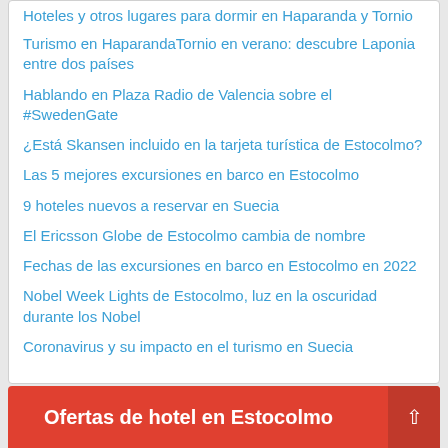Hoteles y otros lugares para dormir en Haparanda y Tornio
Turismo en HaparandaTornio en verano: descubre Laponia entre dos países
Hablando en Plaza Radio de Valencia sobre el #SwedenGate
¿Está Skansen incluido en la tarjeta turística de Estocolmo?
Las 5 mejores excursiones en barco en Estocolmo
9 hoteles nuevos a reservar en Suecia
El Ericsson Globe de Estocolmo cambia de nombre
Fechas de las excursiones en barco en Estocolmo en 2022
Nobel Week Lights de Estocolmo, luz en la oscuridad durante los Nobel
Coronavirus y su impacto en el turismo en Suecia
Ofertas de hotel en Estocolmo